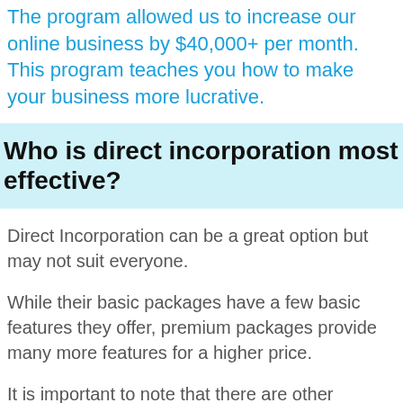The program allowed us to increase our online business by $40,000+ per month. This program teaches you how to make your business more lucrative.
Who is direct incorporation most effective?
Direct Incorporation can be a great option but may not suit everyone.
While their basic packages have a few basic features they offer, premium packages provide many more features for a higher price.
It is important to note that there are other providers